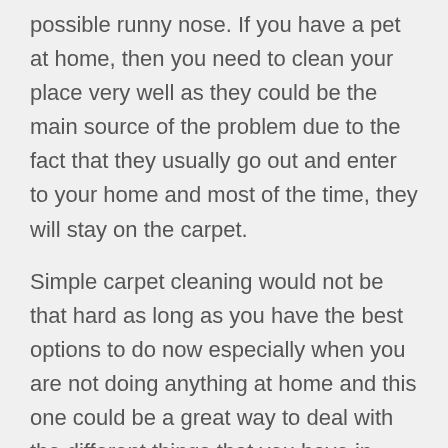possible runny nose. If you have a pet at home, then you need to clean your place very well as they could be the main source of the problem due to the fact that they usually go out and enter to your home and most of the time, they will stay on the carpet.
Simple carpet cleaning would not be that hard as long as you have the best options to do now especially when you are not doing anything at home and this one could be a great way to deal with the different things that you have in there.
You can do the vacuuming every twice or thrice a week to ensure that you are getting the smaller debris of the dirt from the carpet and this is one